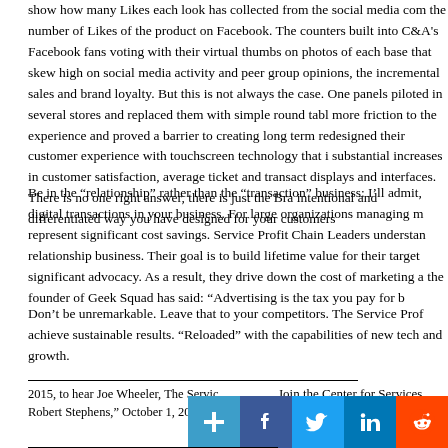show how many Likes each look has collected from the social media com the number of Likes of the product on Facebook. The counters built into C&A's Facebook fans voting with their virtual thumbs on photos of each base that skew high on social media activity and peer group opinions, the incremental sales and brand loyalty. But this is not always the case. One panels piloted in several stores and replaced them with simple round tabl more friction to the experience and proved a barrier to creating long term redesigned their customer experience with touchscreen technology that i substantial increases in customer satisfaction, average ticket and transact displays and interfaces. There is no one right answer, there is just the Bra intentional and differentiated way you have designed for your customers
Be in the “relationship” rather than the “transaction” business: I’ll admit, digital transactions in your business. For large organizations managing m represent significant cost savings. Service Profit Chain Leaders understan relationship business. Their goal is to build lifetime value for their target significant advocacy. As a result, they drive down the cost of marketing a the founder of Geek Squad has said: “Advertising is the tax you pay for b
Don’t be unremarkable. Leave that to your competitors. The Service Prof achieve sustainable results. “Reloaded” with the capabilities of new tech and growth.
Join the Center for Services 2015, to hear Joe Wheeler, The Servic Profit Chain joining T Robert Stephens,” October 1, 2008